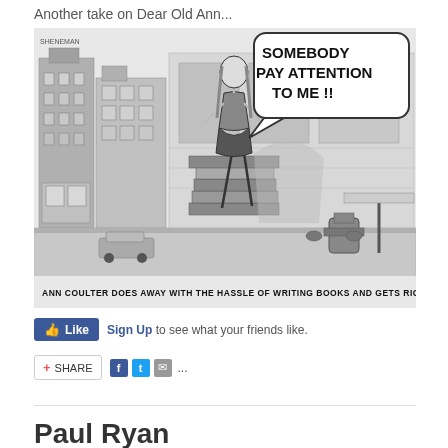Another take on Dear Old Ann...
[Figure (illustration): Political cartoon showing Ann Coulter standing on a stack of books on a city street, yelling 'SOMEBODY PAY ATTENTION TO ME!!' in a speech bubble. Caption reads: ANN COULTER DOES AWAY WITH THE HASSLE OF WRITING BOOKS AND GETS RIGHT TO THE POINT.]
Like  Sign Up to see what your friends like.
SHARE
Paul Ryan